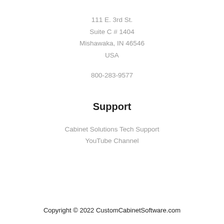111 E. 3rd St.
Suite C # 1404
Mishawaka, IN 46546
USA
800-283-9577
Support
Cabinet Solutions Tech Support
YouTube Channel
Copyright © 2022 CustomCabinetSoftware.com